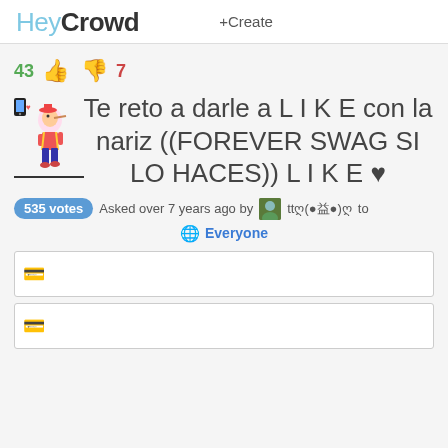HeyCrowd +Create
43 👍 👎 7
Te reto a darle a L I K E con la nariz ((FOREVER SWAG SI LO HACES)) L I K E ♥
535 votes Asked over 7 years ago by ttღ(●益●)ღ to Everyone